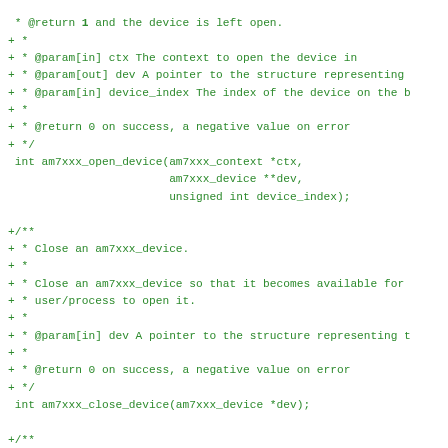Code block showing C API documentation for am7xxx_open_device, am7xxx_close_device, and am7xxx_get_device_info functions with doxygen comments.